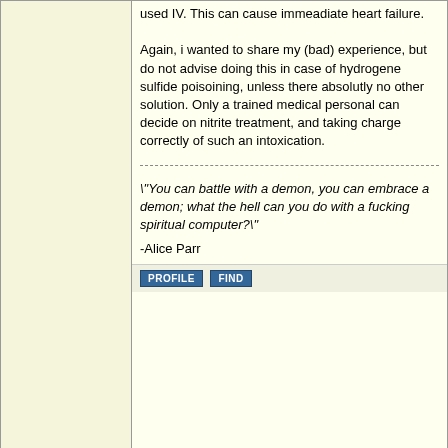used IV. This can cause immediate heart failure.

Again, i wanted to share my (bad) experience, but do not advise doing this in case of hydrogene sulfide poisoining, unless there absolutly no other solution. Only a trained medical personal can decide on nitrite treatment, and taking charge correctly of such an intoxication.
\"You can battle with a demon, you can embrace a demon; what the hell can you do with a fucking spiritual computer?\"
-Alice Parr
PROFILE   FIND
len1
International Hazard
★★★★★
Posts: 595
Registered: 1-3-2007
Member Is Offline
Mood: NZ 1 (goal) - Italy 1 (dive)
posted on 10-5-2008 at 14:32
Thanks for posting that Klute, the safety measures you have - gas mask, breeze throgh work place, frequent trips outside, conc. NaOH scrubber (I never bother with 2) sound very similar to mine, which I thought effective. So this could have happened to me, and serves as a good warning.

The one difference I have is a fume hood, but its not all its cracked up to be - you still have to open it to wash